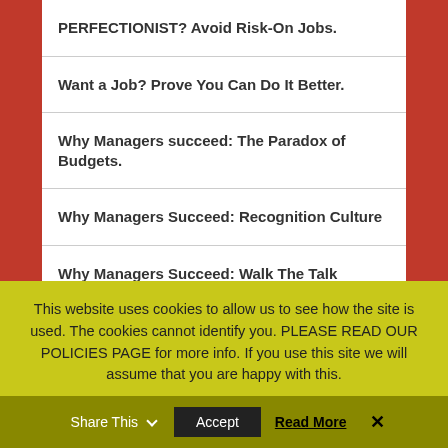PERFECTIONIST? Avoid Risk-On Jobs.
Want a Job? Prove You Can Do It Better.
Why Managers succeed: The Paradox of Budgets.
Why Managers Succeed: Recognition Culture
Why Managers Succeed: Walk The Talk
Why Managers Succeed: Visibility
This website uses cookies to allow us to see how the site is used. The cookies cannot identify you. PLEASE READ OUR POLICIES PAGE for more info. If you use this site we will assume that you are happy with this.
Share This | Accept | Read More | ✕